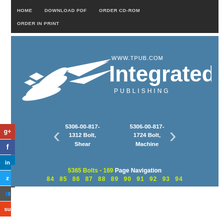HOME   DOWNLOAD PDF   ORDER CD-ROM   ORDER IN PRINT
[Figure (logo): Integrated Publishing logo with stylized bird/arrow graphic and text 'WWW.TPUB.COM Integrated PUBLISHING' on blue background]
5306-00-817-1312 Bolt, Shear
5306-00-817-1724 Bolt, Machine
5365 Bolts - 169 Page Navigation
84 85 86 87 88 89 90 91 92 93 94